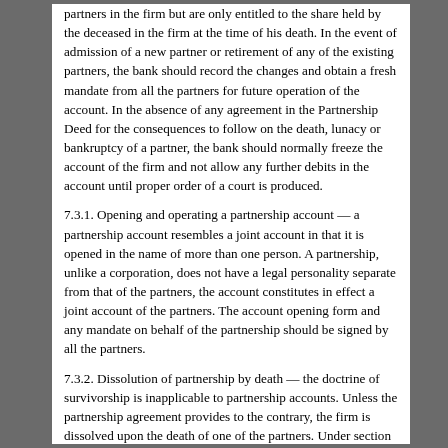partners in the firm but are only entitled to the share held by the deceased in the firm at the time of his death. In the event of admission of a new partner or retirement of any of the existing partners, the bank should record the changes and obtain a fresh mandate from all the partners for future operation of the account. In the absence of any agreement in the Partnership Deed for the consequences to follow on the death, lunacy or bankruptcy of a partner, the bank should normally freeze the account of the firm and not allow any further debits in the account until proper order of a court is produced.
7.3.1. Opening and operating a partnership account — a partnership account resembles a joint account in that it is opened in the name of more than one person. A partnership, unlike a corporation, does not have a legal personality separate from that of the partners, the account constitutes in effect a joint account of the partners. The account opening form and any mandate on behalf of the partnership should be signed by all the partners.
7.3.2. Dissolution of partnership by death — the doctrine of survivorship is inapplicable to partnership accounts. Unless the partnership agreement provides to the contrary, the firm is dissolved upon the death of one of the partners. Under section 38 of the partnership Act 1890 the surviving partners have the power to continue to act for the firm for the purpose of winding-up its affairs.
7.3.3. Problems of insolvency — under section 33 and 38 of